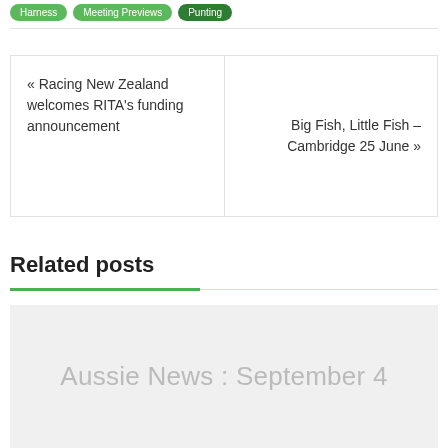Harness | Meeting Previews | Punting
« Racing New Zealand welcomes RITA's funding announcement
Big Fish, Little Fish – Cambridge 25 June »
Related posts
[Figure (photo): Placeholder image card with text 'Aussie News : September 4']